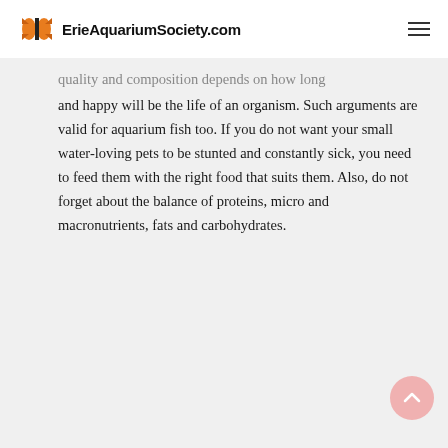ErieAquariumSociety.com
quality and composition depends on how long and happy will be the life of an organism. Such arguments are valid for aquarium fish too. If you do not want your small water-loving pets to be stunted and constantly sick, you need to feed them with the right food that suits them. Also, do not forget about the balance of proteins, micro and macronutrients, fats and carbohydrates.